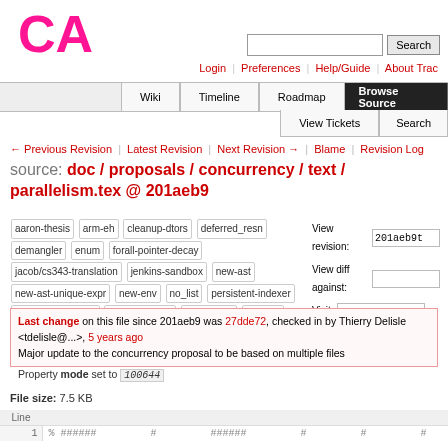[Figure (logo): CA logo in magenta/pink bold text]
Login | Preferences | Help/Guide | About Trac
Wiki | Timeline | Roadmap | Browse Source | View Tickets | Search
← Previous Revision | Latest Revision | Next Revision → | Blame | Revision Log
source: doc / proposals / concurrency / text / parallelism.tex @ 201aeb9
aaron-thesis arm-eh cleanup-dtors deferred_resn demangler enum forall-pointer-decay jacob/cs343-translation jenkins-sandbox new-ast new-ast-unique-expr new-env no_list persistent-indexer pthread-emulation qualifiedEnum resolv-new with_gc
View revision: 201aeb9t  View diff against:  Visit:
Last change on this file since 201aeb9 was 27dde72, checked in by Thierry Delisle <tdelisle@...>, 5 years ago
Major update to the concurrency proposal to be based on multiple files
Property mode set to 100644
File size: 7.5 KB
| Line |  |
| --- | --- |
| 1 | % ###### # ###### # # # |